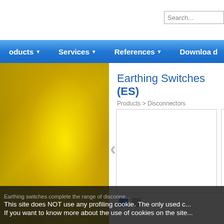Search...
oducts  Services  References  Download
Earthing Switches (ES)
Products > Disconnectors
[Figure (photo): Yellow metallic industrial component, close-up photo used as left panel background]
[Figure (photo): Main carousel image placeholder (white rectangle with border)]
[Figure (photo): Secondary carousel image placeholder (white rectangle with border, partially visible)]
< (back arrow navigation)
Carousel navigation dots: one active (blue), one inactive (gray)
Earthing switches complete the range of disconne...
This site does NOT use any profiling cookie. The only used c...
If you want to know more about the use of cookies on the site...